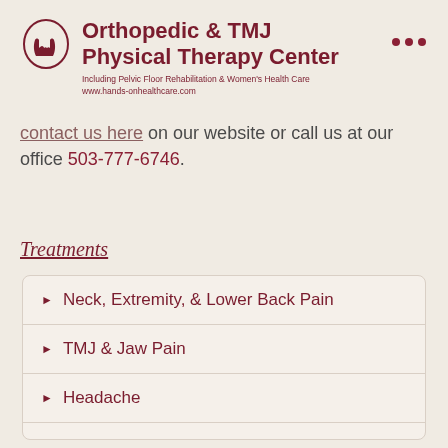[Figure (logo): Orthopedic & TMJ Physical Therapy Center logo with hands icon]
Orthopedic & TMJ Physical Therapy Center
Including Pelvic Floor Rehabilitation & Women's Health Care
www.hands-onhealthcare.com
contact us here on our website or call us at our office 503-777-6746.
Treatments
Neck, Extremity, & Lower Back Pain
TMJ & Jaw Pain
Headache
Female Pelvic Care
Vaginismus